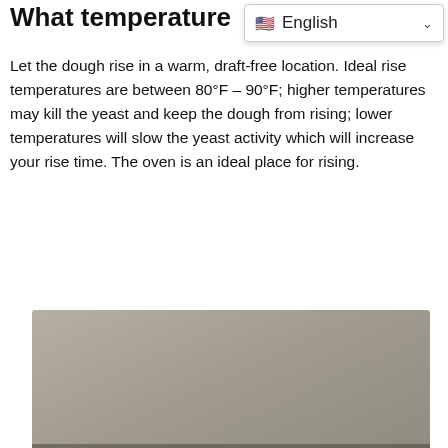What temperature shoul…
[Figure (other): Language selector widget showing English with a US flag and dropdown chevron]
Let the dough rise in a warm, draft-free location. Ideal rise temperatures are between 80°F – 90°F; higher temperatures may kill the yeast and keep the dough from rising; lower temperatures will slow the yeast activity which will increase your rise time. The oven is an ideal place for rising.
[Figure (photo): Gray/beige placeholder image with Bake label and comment icon showing 0 comments at the bottom]
Best answer: How do you seal a Mason jar without boiling it?
Do you have to boil mason jars to seal them? While the old guidelines…